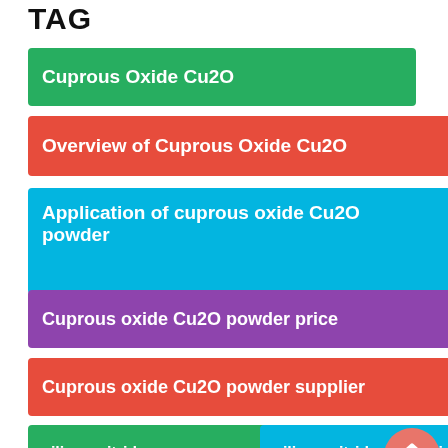TAG
Cuprous Oxide Cu2O
Overview of Cuprous Oxide Cu2O
Application of cuprous oxide Cu2O powder
Cuprous oxide Cu2O powder price
Cuprous oxide Cu2O powder supplier
silicon nitride
silicon nitride properties
[Figure (other): Scroll-to-top button, coral/salmon colored circle with double chevron up arrows]